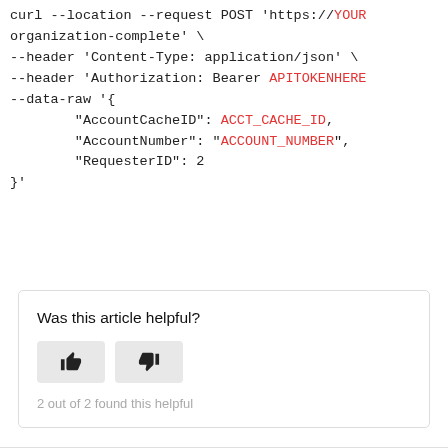curl --location --request POST 'https://YOUR_organization-complete' \
--header 'Content-Type: application/json' \
--header 'Authorization: Bearer APITOKENHERE
--data-raw '{
        "AccountCacheID": ACCT_CACHE_ID,
        "AccountNumber": "ACCOUNT_NUMBER",
        "RequesterID": 2
}'
Was this article helpful?
[Figure (other): Thumbs up and thumbs down voting buttons for article feedback]
2 out of 2 found this helpful